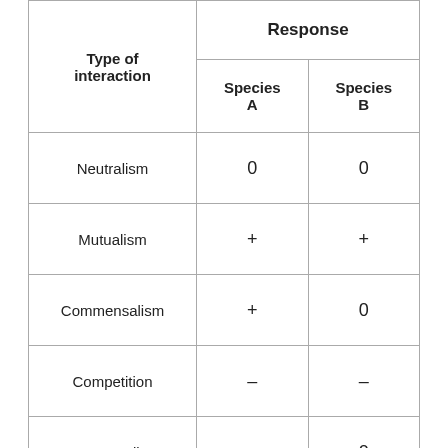| Type of interaction | Species A | Species B |
| --- | --- | --- |
| Neutralism | 0 | 0 |
| Mutualism | + | + |
| Commensalism | + | 0 |
| Competition | – | – |
| Ammensalism | – | 0 |
| Predation | + | – |